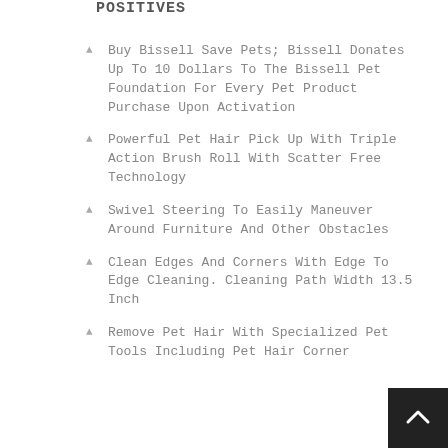POSITIVES
Buy Bissell Save Pets; Bissell Donates Up To 10 Dollars To The Bissell Pet Foundation For Every Pet Product Purchase Upon Activation
Powerful Pet Hair Pick Up With Triple Action Brush Roll With Scatter Free Technology
Swivel Steering To Easily Maneuver Around Furniture And Other Obstacles
Clean Edges And Corners With Edge To Edge Cleaning. Cleaning Path Width 13.5 Inch
Remove Pet Hair With Specialized Pet Tools Including Pet Hair Corner